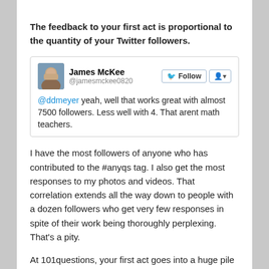The feedback to your first act is proportional to the quantity of your Twitter followers.
[Figure (screenshot): Tweet from James McKee (@jamesmckee0820) saying: @ddmeyer yeah, well that works great with almost 7500 followers. Less well with 4. That arent math teachers.]
I have the most followers of anyone who has contributed to the #anyqs tag. I also get the most responses to my photos and videos. That correlation extends all the way down to people with a dozen followers who get very few responses in spite of their work being thoroughly perplexing. That's a pity.
At 101questions, your first act goes into a huge pile along with mine and both of ours are served up randomly to other users until it gets 100 responses.
People post whatever they want and tag it #anyqs.